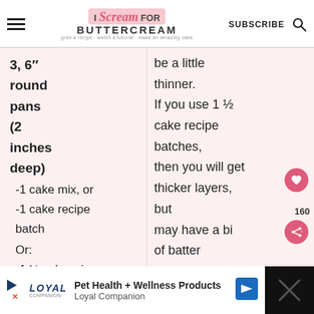I Scream FOR BUTTERCREAM — grab a recipe · watch a tutorial · make an amazing cake — SUBSCRIBE
3, 6″ round pans (2 inches deep)
-1 cake mix, or
-1 cake recipe batch
Or:
-1 ½ cake mix, or
-1 ½ cake recipe batch
be a little thinner. If you use 1 ½ cake recipe batches, then you will get thicker layers, but may have a bit of batter
Pet Health + Wellness Products — Loyal Companion